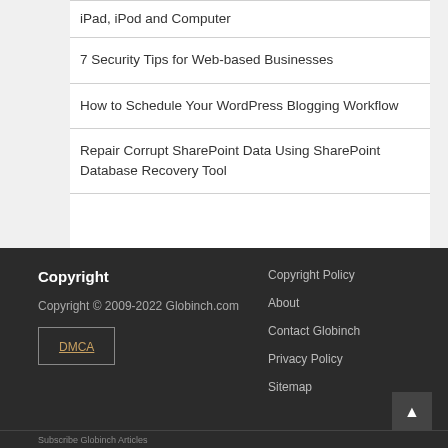iPad, iPod and Computer
7 Security Tips for Web-based Businesses
How to Schedule Your WordPress Blogging Workflow
Repair Corrupt SharePoint Data Using SharePoint Database Recovery Tool
Copyright
Copyright © 2009-2022 Globinch.com
DMCA
Copyright Policy
About
Contact Globinch
Privacy Policy
Sitemap
Subscribe Globinch Articles